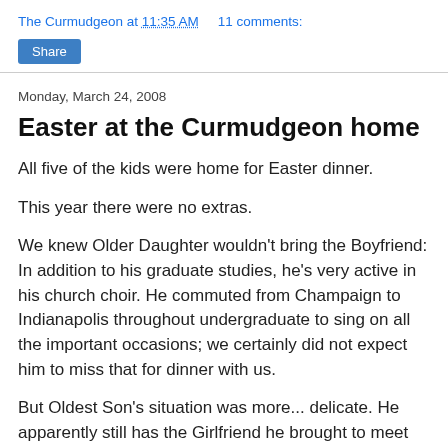The Curmudgeon at 11:35 AM   11 comments:
Share
Monday, March 24, 2008
Easter at the Curmudgeon home
All five of the kids were home for Easter dinner.
This year there were no extras.
We knew Older Daughter wouldn't bring the Boyfriend: In addition to his graduate studies, he's very active in his church choir. He commuted from Champaign to Indianapolis throughout undergraduate to sing on all the important occasions; we certainly did not expect him to miss that for dinner with us.
But Oldest Son's situation was more... delicate. He apparently still has the Girlfriend he brought to meet us during Christmastime. Indeed, she's now moved to the